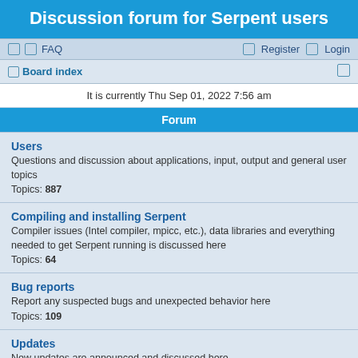Discussion forum for Serpent users
FAQ  Register  Login
Board index
It is currently Thu Sep 01, 2022 7:56 am
Forum
Users
Questions and discussion about applications, input, output and general user topics
Topics: 887
Compiling and installing Serpent
Compiler issues (Intel compiler, mpicc, etc.), data libraries and everything needed to get Serpent running is discussed here
Topics: 64
Bug reports
Report any suspected bugs and unexpected behavior here
Topics: 109
Updates
New updates are announced and discussed here
Topics: 12
Methods
Discussion on physics, models and calculation methods
Topics: 91